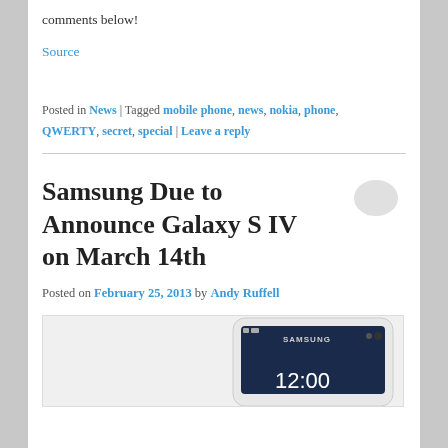comments below!
Source
Posted in News | Tagged mobile phone, news, nokia, phone, QWERTY, secret, special | Leave a reply
Samsung Due to Announce Galaxy S IV on March 14th
Posted on February 25, 2013 by Andy Ruffell
[Figure (photo): Samsung Galaxy S IV smartphone render showing the device with a dark screen displaying 12:00]